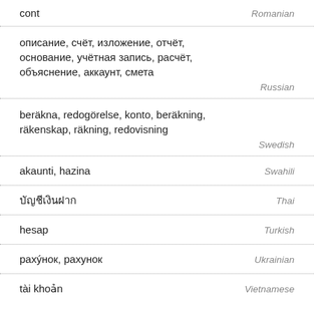cont
описание, счёт, изложение, отчёт, основание, учётная запись, расчёт, объяснение, аккаунт, смета
beräkna, redogörelse, konto, beräkning, räkenskap, räkning, redovisning
akaunti, hazina
บัญชีเงินฝาก
hesap
рахýнок, рахунок
tài khoản